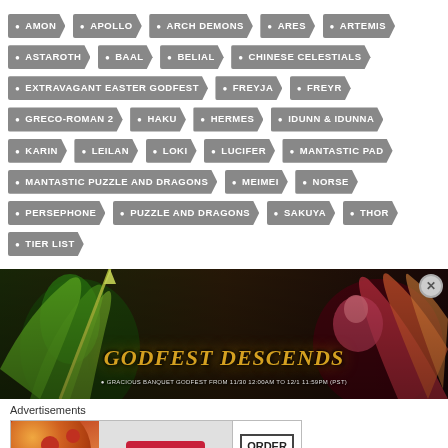AMON
APOLLO
ARCH DEMONS
ARES
ARTEMIS
ASTAROTH
BAAL
BELIAL
CHINESE CELESTIALS
EXTRAVAGANT EASTER GODFEST
FREYJA
FREYR
GRECO-ROMAN 2
HAKU
HERMES
IDUNN & IDUNNA
KARIN
LEILAN
LOKI
LUCIFER
MANTASTIC PAD
MANTASTIC PUZZLE AND DRAGONS
MEIMEI
NORSE
PERSEPHONE
PUZZLE AND DRAGONS
SAKUYA
THOR
TIER LIST
[Figure (photo): Godfest Descends banner with game characters and golden title text. Subtitle: GRACIOUS BANQUET GODFEST FROM 11/30 12:00AM TO 12/1 11:59PM (PST)]
Advertisements
[Figure (photo): Seamless food delivery advertisement banner with pizza image, Seamless logo, and ORDER NOW button]